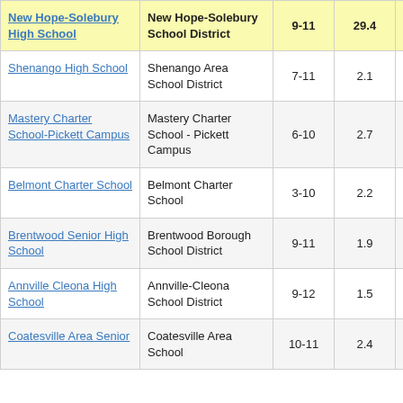| School | District | Grades | Value | ... |
| --- | --- | --- | --- | --- |
| New Hope-Solebury High School | New Hope-Solebury School District | 9-11 | 29.4 |  |
| Shenango High School | Shenango Area School District | 7-11 | 2.1 |  |
| Mastery Charter School-Pickett Campus | Mastery Charter School - Pickett Campus | 6-10 | 2.7 |  |
| Belmont Charter School | Belmont Charter School | 3-10 | 2.2 |  |
| Brentwood Senior High School | Brentwood Borough School District | 9-11 | 1.9 |  |
| Annville Cleona High School | Annville-Cleona School District | 9-12 | 1.5 |  |
| Coatesville Area Senior | Coatesville Area School | 10-11 | 2.4 |  |